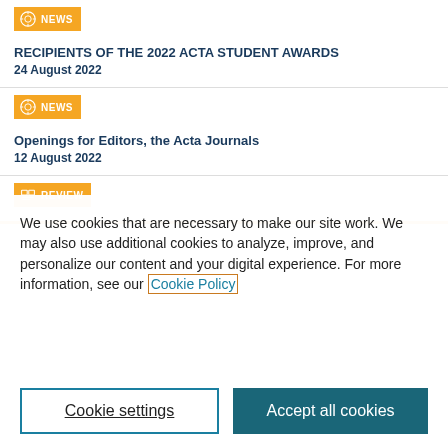NEWS
RECIPIENTS OF THE 2022 ACTA STUDENT AWARDS
24 August 2022
NEWS
Openings for Editors, the Acta Journals
12 August 2022
REVIEW
We use cookies that are necessary to make our site work. We may also use additional cookies to analyze, improve, and personalize our content and your digital experience. For more information, see our Cookie Policy
Cookie settings
Accept all cookies